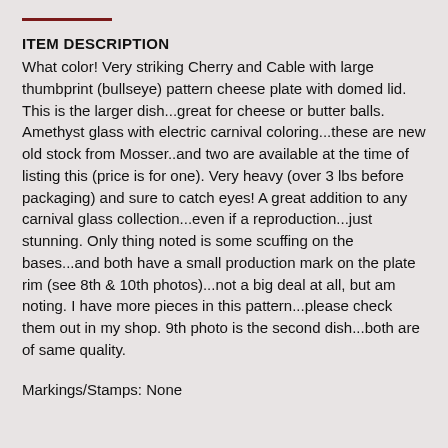ITEM DESCRIPTION
What color! Very striking Cherry and Cable with large thumbprint (bullseye) pattern cheese plate with domed lid. This is the larger dish...great for cheese or butter balls. Amethyst glass with electric carnival coloring...these are new old stock from Mosser..and two are available at the time of listing this (price is for one). Very heavy (over 3 lbs before packaging) and sure to catch eyes! A great addition to any carnival glass collection...even if a reproduction...just stunning. Only thing noted is some scuffing on the bases...and both have a small production mark on the plate rim (see 8th & 10th photos)...not a big deal at all, but am noting. I have more pieces in this pattern...please check them out in my shop. 9th photo is the second dish...both are of same quality.
Markings/Stamps: None